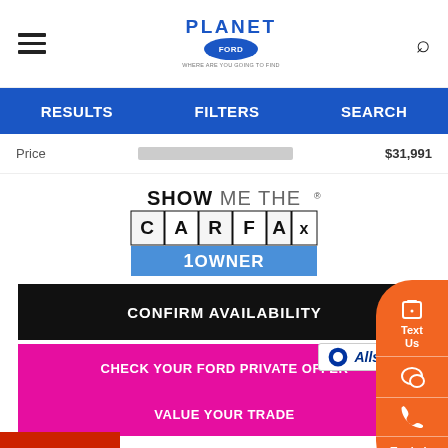Planet Ford - Header navigation
RESULTS | FILTERS | SEARCH
Price $31,991
[Figure (logo): Show Me The Carfax 1 Owner logo]
CONFIRM AVAILABILITY
CHECK YOUR FORD PRIVATE OFFER
SHOW PAYMENT OPTIONS
VALUE YOUR TRADE
[Figure (logo): Allstate logo]
CLICK FOR MORE VEHICLE DETAILS
Text Us
Trade-in